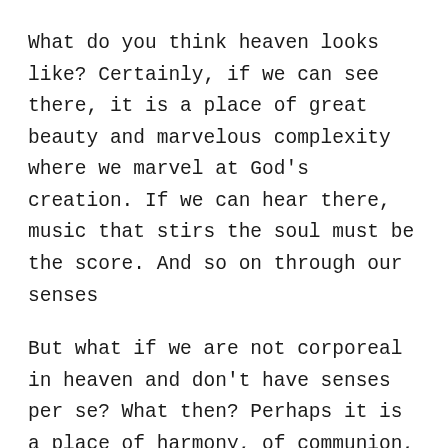What do you think heaven looks like? Certainly, if we can see there, it is a place of great beauty and marvelous complexity where we marvel at God's creation. If we can hear there, music that stirs the soul must be the score. And so on through our senses
But what if we are not corporeal in heaven and don't have senses per se? What then? Perhaps it is a place of harmony, of communion, with everyone different but united in common purpose.
These are good things, yes? Appreciating beauty in God's creation, enjoying music that